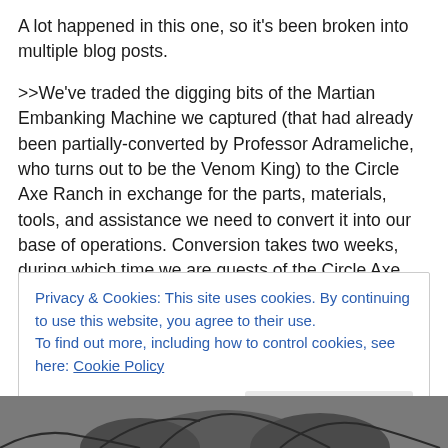A lot happened in this one, so it's been broken into multiple blog posts.
>>We've traded the digging bits of the Martian Embanking Machine we captured (that had already been partially-converted by Professor Adrameliche, who turns out to be the Venom King) to the Circle Axe Ranch in exchange for the parts, materials, tools, and assistance we need to convert it into our base of operations. Conversion takes two weeks, during which time we are guests of the Circle Axe. The group decides on a group name (the Knight
Privacy & Cookies: This site uses cookies. By continuing to use this website, you agree to their use.
To find out more, including how to control cookies, see here: Cookie Policy
Close and accept
[Figure (illustration): Bottom strip showing partial illustration of a drawn figure/character]